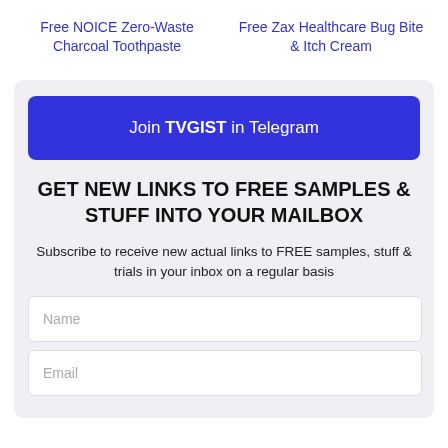Free NOICE Zero-Waste Charcoal Toothpaste
Free Zax Healthcare Bug Bite & Itch Cream
Join TVGIST in Telegram
GET NEW LINKS TO FREE SAMPLES & STUFF INTO YOUR MAILBOX
Subscribe to receive new actual links to FREE samples, stuff & trials in your inbox on a regular basis
Name
Email